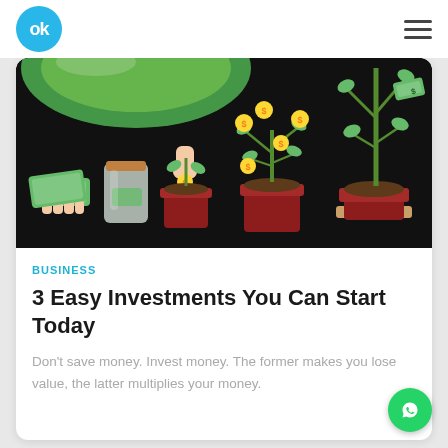OK (logo) | hamburger menu
[Figure (illustration): Dark background illustration showing progression of money growing: a hand holding cash bills, a glass jar with money, a hand dropping a coin into a pot with a small plant, a larger pot with a money tree bearing coin fruits, and a tall pot with a large money tree growing.]
BUSINESS
3 Easy Investments You Can Start Today
Don't save money. Invest money. The former makes you lose value, the latter multiplies your money.